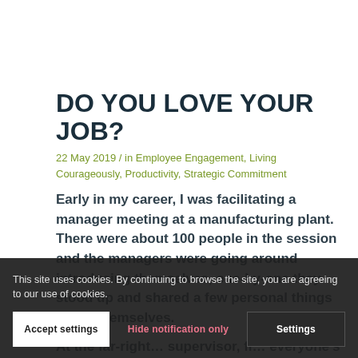DO YOU LOVE YOUR JOB?
22 May 2019 / in Employee Engagement, Living Courageously, Productivity, Strategic Commitment
Early in my career, I was facilitating a manager meeting at a manufacturing plant. There were about 100 people in the session and the managers were going around introducing themselves, one-by-one they stood up and shared a few personal things about themselves.
At the far-right… supervisor, fi… everyone's attention on him. I could tell that he was one of the
This site uses cookies. By continuing to browse the site, you are agreeing to our use of cookies.
Accept settings
Hide notification only
Settings